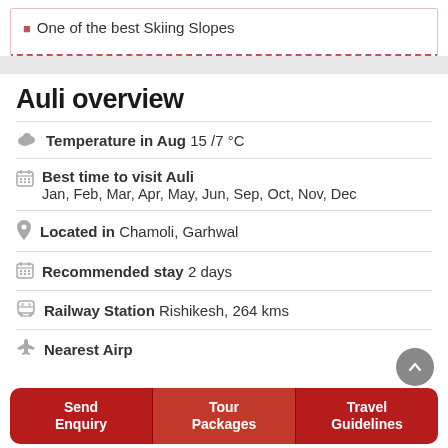One of the best Skiing Slopes
Auli overview
Temperature in Aug 15 /7 °C
Best time to visit Auli
Jan, Feb, Mar, Apr, May, Jun, Sep, Oct, Nov, Dec
Located in Chamoli, Garhwal
Recommended stay 2 days
Railway Station Rishikesh, 264 kms
Nearest Airp…